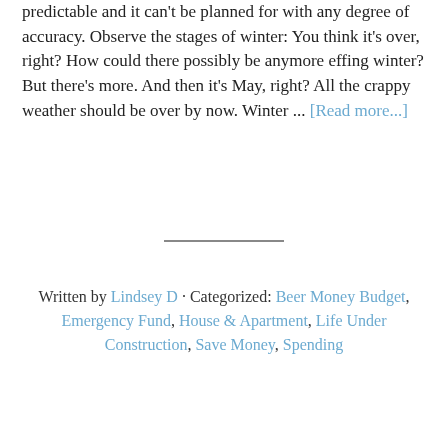predictable and it can't be planned for with any degree of accuracy. Observe the stages of winter: You think it's over, right? How could there possibly be anymore effing winter? But there's more. And then it's May, right? All the crappy weather should be over by now. Winter ... [Read more...]
Written by Lindsey D · Categorized: Beer Money Budget, Emergency Fund, House & Apartment, Life Under Construction, Save Money, Spending